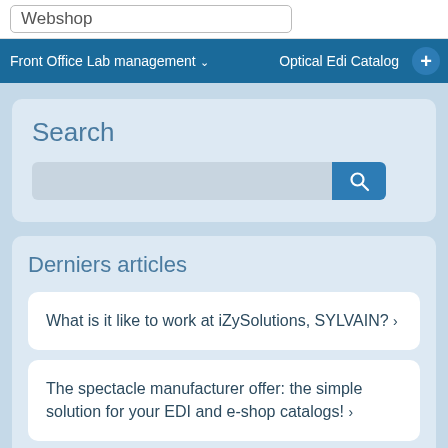Webshop
Front Office Lab management  Optical Edi Catalog  +
Search
[Figure (screenshot): Search input box with a blue search button containing a magnifying glass icon]
Derniers articles
What is it like to work at iZySolutions, SYLVAIN? ›
The spectacle manufacturer offer: the simple solution for your EDI and e-shop catalogs! ›
iZyStory: Stéphane TROLET ›